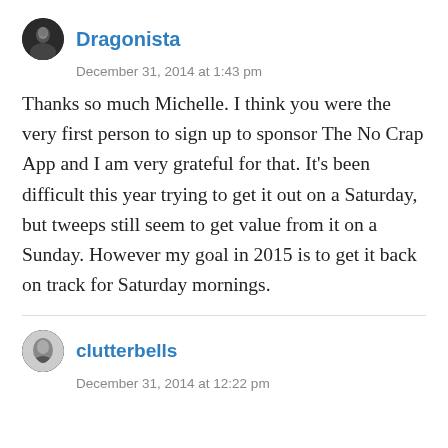Dragonista
December 31, 2014 at 1:43 pm
Thanks so much Michelle. I think you were the very first person to sign up to sponsor The No Crap App and I am very grateful for that. It’s been difficult this year trying to get it out on a Saturday, but tweeps still seem to get value from it on a Sunday. However my goal in 2015 is to get it back on track for Saturday mornings.
clutterbells
December 31, 2014 at 12:22 pm